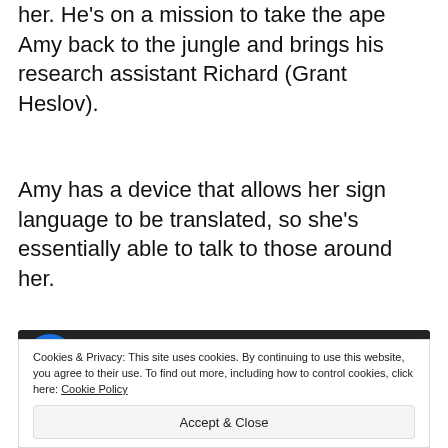her. He's on a mission to take the ape Amy back to the jungle and brings his research assistant Richard (Grant Heslov).
Amy has a device that allows her sign language to be translated, so she's essentially able to talk to those around her.
[Figure (screenshot): YouTube video embed thumbnail for 'Congo (2/9) Movie CLIP - Amy Want...' with Rotten Tomatoes Movie Clips badge, showing a dark video thumbnail of an ape, with a cookie consent overlay reading: 'Cookies & Privacy: This site uses cookies. By continuing to use this website, you agree to their use. To find out more, including how to control cookies, click here: Cookie Policy' and an 'Accept & Close' button.]